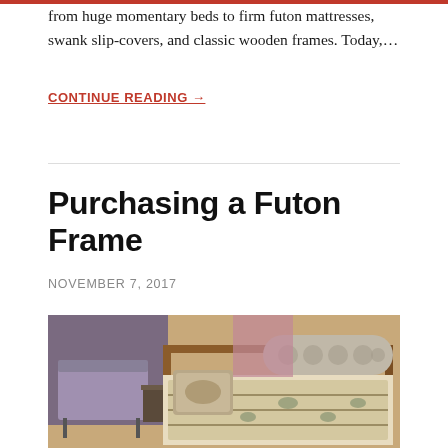from huge momentary beds to firm futon mattresses, swank slip-covers, and classic wooden frames. Today,…
CONTINUE READING →
Purchasing a Futon Frame
NOVEMBER 7, 2017
[Figure (photo): Photo of futon frames and mattresses in a retail store, showing decorative patterned fabrics, pillows and bolsters on display futon frames.]